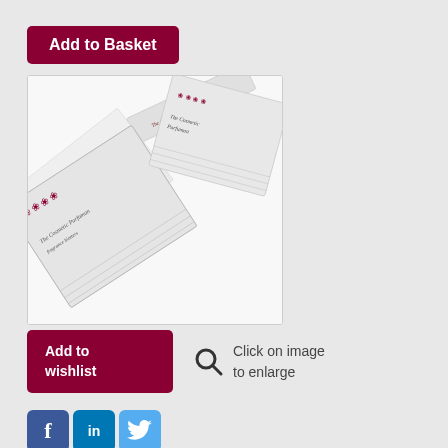[Figure (other): Add to Basket button (dark red/maroon rounded rectangle button with white text)]
[Figure (photo): Product photo showing branded perfume test strips / blotter cards fanned out, white with printed logo text, on white background]
[Figure (other): Add to wishlist button (dark red/maroon rounded rectangle) and magnifying glass icon with 'Click on image to enlarge' text]
[Figure (other): Social media icons: Facebook, LinkedIn, Twitter]